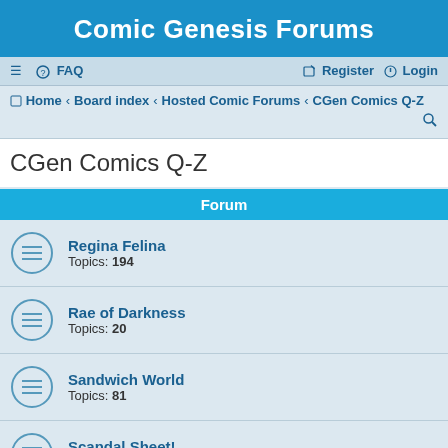Comic Genesis Forums
≡  FAQ  Register  Login
Home · Board index · Hosted Comic Forums · CGen Comics Q-Z
CGen Comics Q-Z
Forum
Regina Felina
Topics: 194
Rae of Darkness
Topics: 20
Sandwich World
Topics: 81
Scandal Sheet!
Topics: 37
Stalag '99
And you thought Sci-Fi couldn't get any weirder...
Topics: 43
Stripped Again
Topics: 65